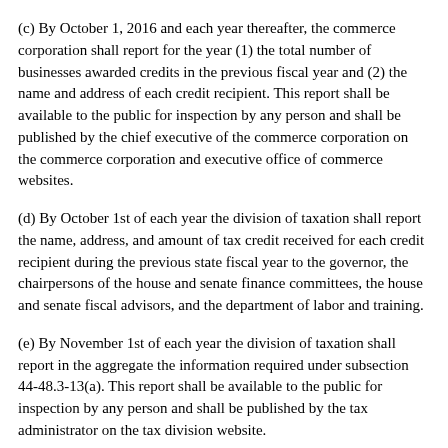(c) By October 1, 2016 and each year thereafter, the commerce corporation shall report for the year (1) the total number of businesses awarded credits in the previous fiscal year and (2) the name and address of each credit recipient. This report shall be available to the public for inspection by any person and shall be published by the chief executive of the commerce corporation on the commerce corporation and executive office of commerce websites.
(d) By October 1st of each year the division of taxation shall report the name, address, and amount of tax credit received for each credit recipient during the previous state fiscal year to the governor, the chairpersons of the house and senate finance committees, the house and senate fiscal advisors, and the department of labor and training.
(e) By November 1st of each year the division of taxation shall report in the aggregate the information required under subsection 44-48.3-13(a). This report shall be available to the public for inspection by any person and shall be published by the tax administrator on the tax division website.
History of Section.
P.L. 2015, ch. 141, art. 19, § 15.